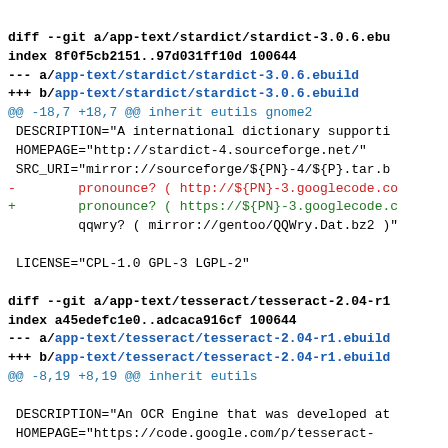diff --git a/app-text/stardict/stardict-3.0.6.ebu
index 8f0f5cb2151..97d031ff10d 100644
--- a/app-text/stardict/stardict-3.0.6.ebuild
+++ b/app-text/stardict/stardict-3.0.6.ebuild
@@ -18,7 +18,7 @@ inherit eutils gnome2
 DESCRIPTION="A international dictionary supporti
 HOMEPAGE="http://stardict-4.sourceforge.net/"
 SRC_URI="mirror://sourceforge/${PN}-4/${P}.tar.b
-        pronounce? ( http://${PN}-3.googlecode.co
+        pronounce? ( https://${PN}-3.googlecode.c
         qqwry? ( mirror://gentoo/QQWry.Dat.bz2 )"

 LICENSE="CPL-1.0 GPL-3 LGPL-2"

diff --git a/app-text/tesseract/tesseract-2.04-r1
index a45edefc1e0..adcaca916cf 100644
--- a/app-text/tesseract/tesseract-2.04-r1.ebuild
+++ b/app-text/tesseract/tesseract-2.04-r1.ebuild
@@ -8,19 +8,19 @@ inherit eutils

 DESCRIPTION="An OCR Engine that was developed at
 HOMEPAGE="https://code.google.com/p/tesseract-